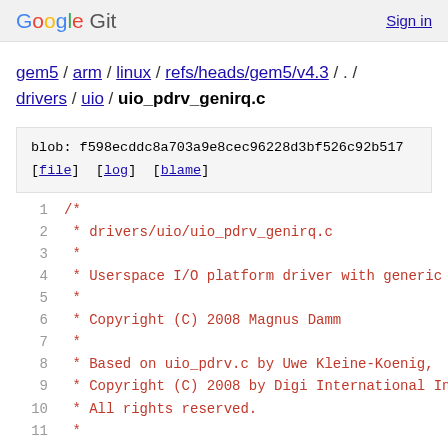Google Git  Sign in
gem5 / arm / linux / refs/heads/gem5/v4.3 / . / drivers / uio / uio_pdrv_genirq.c
blob: f598ecddc8a703a9e8cec96228d3bf526c92b517
[file] [log] [blame]
1  /*
2   * drivers/uio/uio_pdrv_genirq.c
3   *
4   * Userspace I/O platform driver with generic I
5   *
6   * Copyright (C) 2008 Magnus Damm
7   *
8   * Based on uio_pdrv.c by Uwe Kleine-Koenig,
9   * Copyright (C) 2008 by Digi International Inc
10  * All rights reserved.
11  *